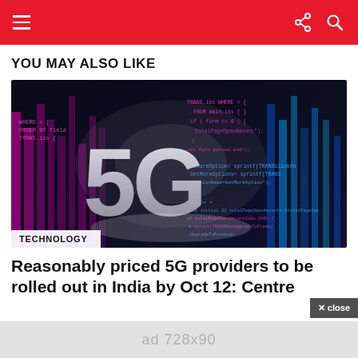Navigation bar with hamburger menu, share and search icons
YOU MAY ALSO LIKE
[Figure (photo): 5G technology promotional image with large silver 3D '5G' letters on a dark background with pink and blue glowing code text]
TECHNOLOGY
Reasonably priced 5G providers to be rolled out in India by Oct 12: Centre
ad 728x90